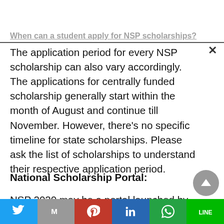When can a student apply for NSP scholarships?
The application period for every NSP scholarship can also vary accordingly. The applications for centrally funded scholarship generally start within the month of August and continue till November. However, there's no specific timeline for state scholarships. Please ask the list of scholarships to understand their respective application period.
National Scholarship Portal:
NSP 2020 may be a portal launched by Ministry of